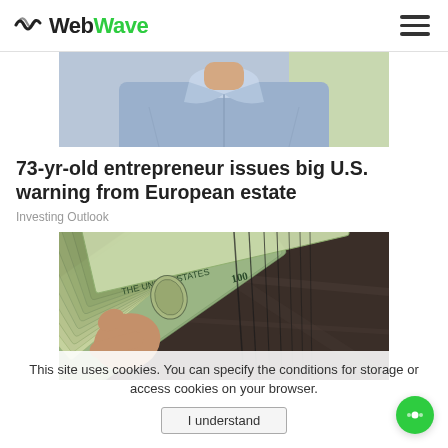WebWave
[Figure (photo): Cropped photo of a person in a light blue shirt, upper body only visible]
73-yr-old entrepreneur issues big U.S. warning from European estate
Investing Outlook
[Figure (photo): A hand holding a large stack of US $100 bills fanned out diagonally]
This site uses cookies. You can specify the conditions for storage or access cookies on your browser.
I understand